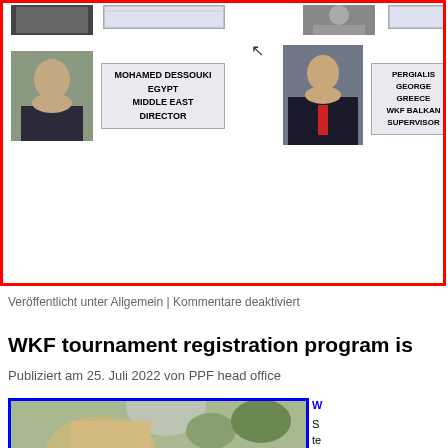[Figure (photo): Organizational chart section showing Mohamed Dessouki (Egypt, Middle East Director) and Pergialis George (Greece, WKF Balkan Supervisor) with photos, inside a red border box]
Veröffentlicht unter Allgemein | Kommentare deaktiviert
WKF tournament registration program is
Publiziert am 25. Juli 2022 von PPF head office
[Figure (photo): Photo of an elderly bald man with glasses outdoors with greenery in background, inside a blue border box]
S... te... b... a...